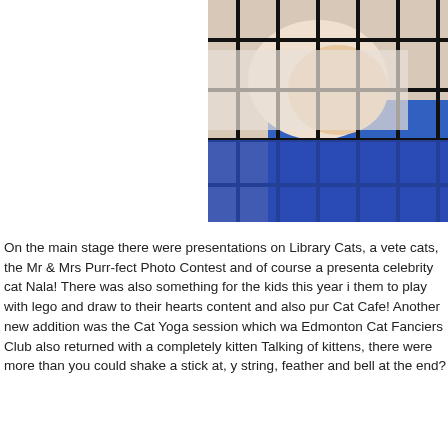[Figure (photo): A cat visible through a wire cage, with blue and white background elements visible behind the cage bars.]
On the main stage there were presentations on Library Cats, a vete cats, the Mr & Mrs Purr-fect Photo Contest and of course a presenta celebrity cat Nala!  There was also something for the kids this year i them to play with lego and draw to their hearts content and also pur Cat Cafe!  Another new addition was the Cat Yoga session which wa Edmonton Cat Fanciers Club also returned with a completely kitten Talking of kittens, there were more than you could shake a stick at, y string, feather and bell at the end?